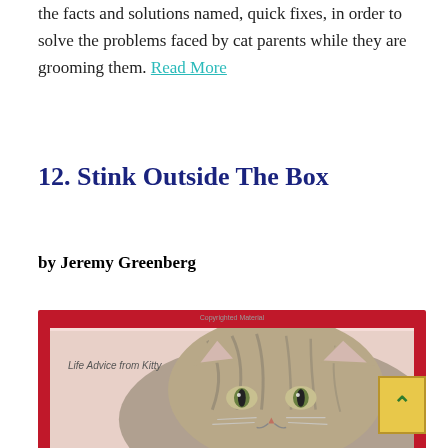the facts and solutions named, quick fixes, in order to solve the problems faced by cat parents while they are grooming them. Read More
12. Stink Outside The Box
by Jeremy Greenberg
[Figure (photo): Book cover for 'Life Advice from Kitty' showing a close-up photo of a tabby cat's face with a red border and beige inner background. There is a 'Copyrighted Material' watermark at the top.]